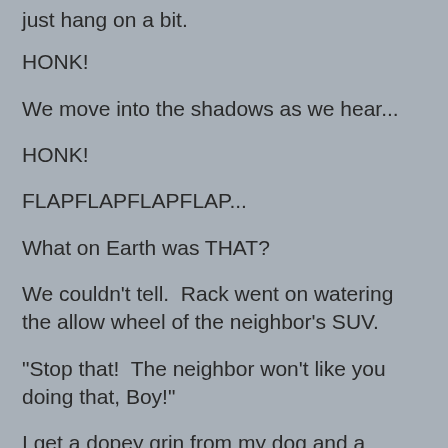just hang on a bit.
HONK!
We move into the shadows as we hear...
HONK!
FLAPFLAPFLAPFLAP...
What on Earth was THAT?
We couldn't tell.  Rack went on watering the allow wheel of the neighbor's SUV.
"Stop that!  The neighbor won't like you doing that, Boy!"
I get a dopey grin from my dog and a chuckle out of Kevin.
We walk on East toward the end of our neighborhood and toward the beach way over that way beyond.  It gets darker.  The neighbor's post lamps are out.  They're home, I can see